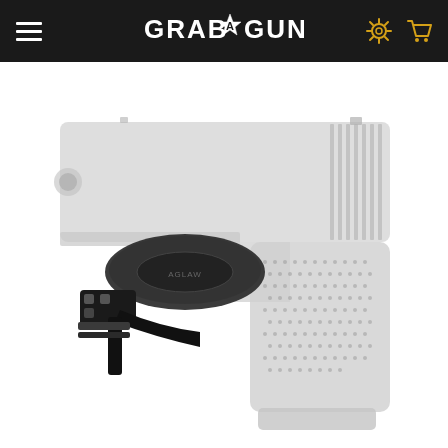GrabAGun navigation header with logo, hamburger menu, search and cart icons
[Figure (photo): Product photo of a black polymer/kydex IWB holster with clip mechanism attached to a light gray translucent Glock-style compact pistol, shown against a white background. The holster is positioned on the trigger guard/slide area of the gun.]